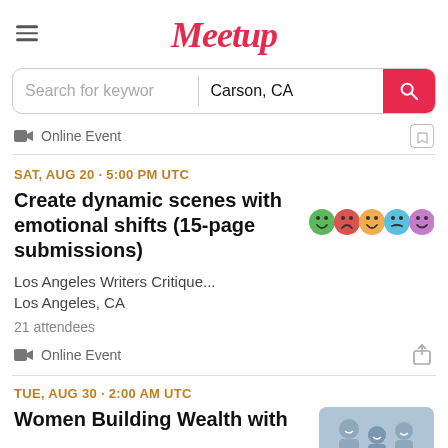Meetup
Search for keyword | Carson, CA
Online Event
SAT, AUG 20 · 5:00 PM UTC
Create dynamic scenes with emotional shifts (15-page submissions)
Los Angeles Writers Critique...
Los Angeles, CA
21 attendees
Online Event
TUE, AUG 30 · 2:00 AM UTC
Women Building Wealth with